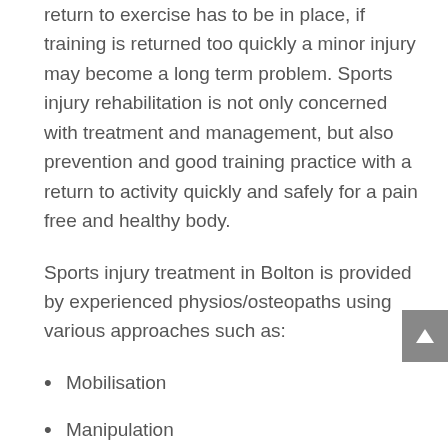return to exercise has to be in place, if training is returned too quickly a minor injury may become a long term problem. Sports injury rehabilitation is not only concerned with treatment and management, but also prevention and good training practice with a return to activity quickly and safely for a pain free and healthy body.
Sports injury treatment in Bolton is provided by experienced physios/osteopaths using various approaches such as:
Mobilisation
Manipulation
Soft tissue release